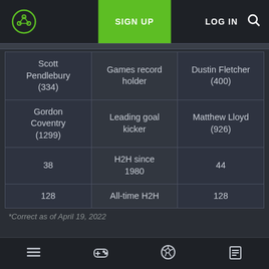SIGN UP | LOG IN
|  |  |  |
| --- | --- | --- |
| Scott Pendlebury (334) | Games record holder | Dustin Fletcher (400) |
| Gordon Coventry (1299) | Leading goal kicker | Matthew Lloyd (926) |
| 38 | H2H since 1980 | 44 |
| 128 | All-time H2H | 128 |
*Correct as of April 19, 2022
Navigation bar with menu, games, football, and list icons